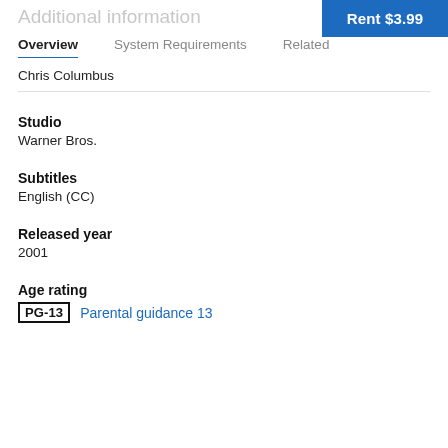Additional information
Rent $3.99
Overview | System Requirements | Related
Chris Columbus
Studio
Warner Bros.
Subtitles
English (CC)
Released year
2001
Age rating
PG-13  Parental guidance 13